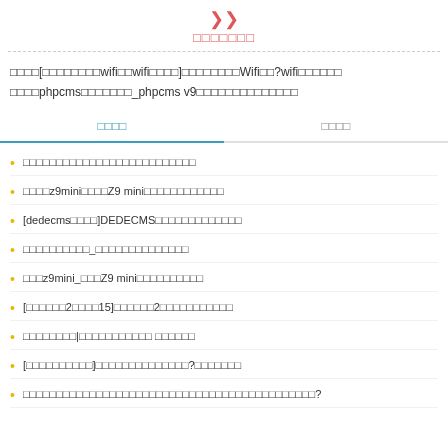□□□□□□□
□□□□[□□□□□□□□wifi□□wifi□□□□]□□□□□□□□Wifi□□?wifi□□□□□□ □□□□phpcms□□□□□□□_phpcms v9□□□□□□□□□□□□□□
□□□□
□□□□
□□□□□□□□□□□□□□□□□□□□□□□□□□
□□□□z9mini□□□□Z9 mini□□□□□□□□□□□□
[dedecms□□□□]DEDECMS□□□□□□□□□□□□□
□□□□□□□□□□_□□□□□□□□□□□□□□
□□□z9mini_□□□Z9 mini□□□□□□□□□□
[□□□□□□2□□□□15]□□□□□□2□□□□□□□□□□□
□□□□□□□□|□□□□□□□□□□□ □□□□□□
[□□□□□□□□□□]□□□□□□□□□□□□□□?□□□□□□□
□□□□□□□□□□□□□□□□□□□□□□□□□□□□□□□□□□□□□□□□□□□□?